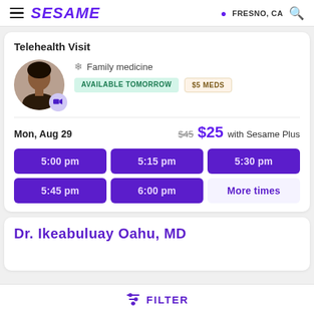SESAME | FRESNO, CA
Telehealth Visit
[Figure (photo): Doctor profile photo (female) with video camera badge]
Family medicine
AVAILABLE TOMORROW | $5 MEDS
Mon, Aug 29   $45  $25 with Sesame Plus
5:00 pm  5:15 pm  5:30 pm  5:45 pm  6:00 pm  More times
Dr. Ikeabuluay Oahu, MD
FILTER